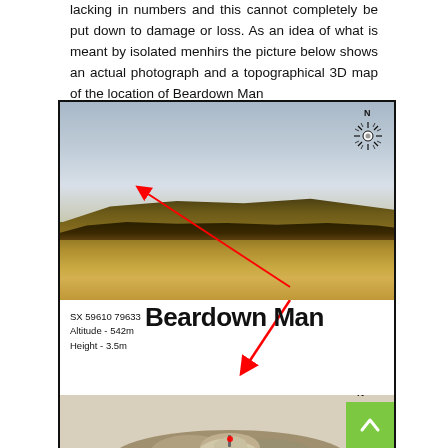lacking in numbers and this cannot completely be put down to damage or loss. As an idea of what is meant by isolated menhirs the picture below shows an actual photograph and a topographical 3D map of the location of Beardown Man
[Figure (photo): Composite figure showing: (top) an actual photograph of a moorland landscape with a red arrow pointing to Beardown Man menhir on the hillside; (bottom) a 3D topographical map of the same location with coordinates SX 59610 79633, Altitude 542m, Height 3.5m, and the label 'Beardown Man', with a north compass rose and a red arrow pointing to the menhir's location on the 3D terrain model.]